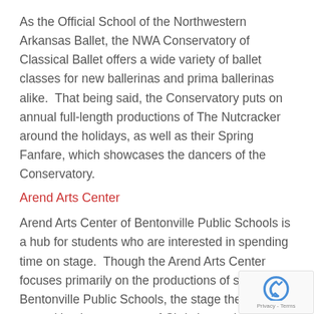As the Official School of the Northwestern Arkansas Ballet, the NWA Conservatory of Classical Ballet offers a wide variety of ballet classes for new ballerinas and prima ballerinas alike.  That being said, the Conservatory puts on annual full-length productions of The Nutcracker around the holidays, as well as their Spring Fanfare, which showcases the dancers of the Conservatory.
Arend Arts Center
Arend Arts Center of Bentonville Public Schools is a hub for students who are interested in spending time on stage.  Though the Arend Arts Center focuses primarily on the productions of students of Bentonville Public Schools, the stage there has graced by the presence of Christian rock group of Clay, concert pianist Rosario Andino, and